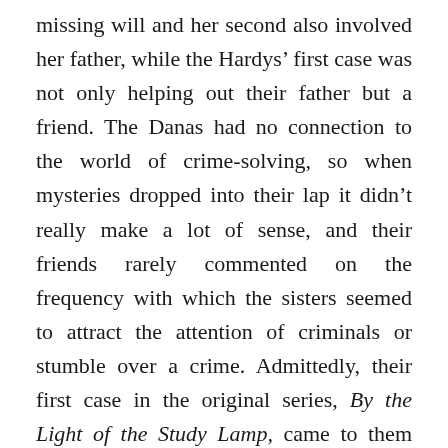missing will and her second also involved her father, while the Hardys' first case was not only helping out their father but a friend. The Danas had no connection to the world of crime-solving, so when mysteries dropped into their lap it didn't really make a lot of sense, and their friends rarely commented on the frequency with which the sisters seemed to attract the attention of criminals or stumble over a crime. Admittedly, their first case in the original series, By the Light of the Study Lamp, came to them organically; a close friend's brother has disappeared as well as their inheritance,